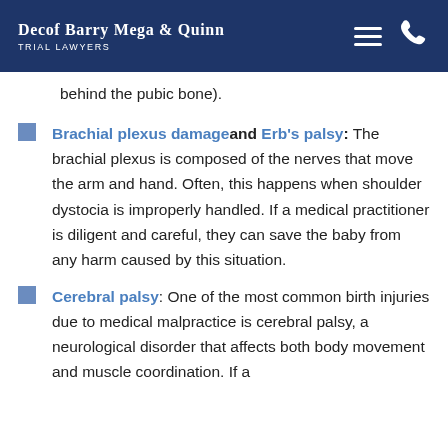Decof Barry Mega & Quinn — Trial Lawyers
behind the pubic bone).
Brachial plexus damage and Erb's palsy: The brachial plexus is composed of the nerves that move the arm and hand. Often, this happens when shoulder dystocia is improperly handled. If a medical practitioner is diligent and careful, they can save the baby from any harm caused by this situation.
Cerebral palsy: One of the most common birth injuries due to medical malpractice is cerebral palsy, a neurological disorder that affects both body movement and muscle coordination. If a